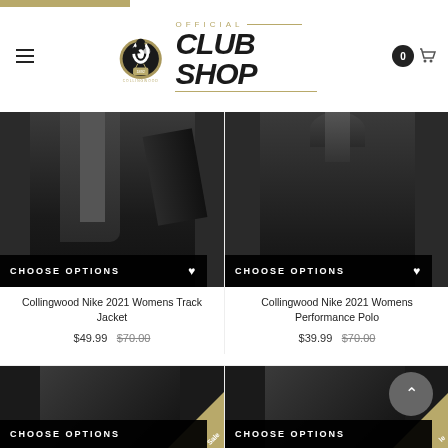[Figure (logo): Collingwood Official Club Shop logo with magpie emblem and gold/black text]
[Figure (photo): Collingwood Nike 2021 Womens Track Jacket product photo, black jacket]
CHOOSE OPTIONS
Collingwood Nike 2021 Womens Track Jacket
$49.99 $70.00
[Figure (photo): Collingwood Nike 2021 Womens Performance Polo product photo, black polo]
CHOOSE OPTIONS
Collingwood Nike 2021 Womens Performance Polo
$39.99 $70.00
[Figure (photo): Partial product photo bottom left with Sale badge]
CHOOSE OPTIONS
[Figure (photo): Partial product photo bottom right with Sale badge and back-to-top button]